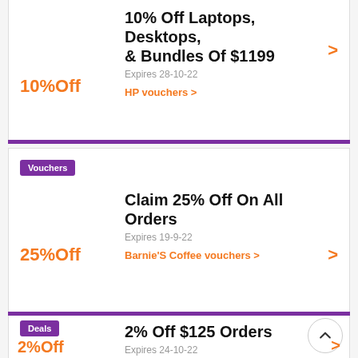10% Off Laptops, Desktops, & Bundles Of $1199
Expires 28-10-22
HP vouchers >
10%Off
Vouchers
Claim 25% Off On All Orders
Expires 19-9-22
Barnie'S Coffee vouchers >
25%Off
Deals
2% Off $125 Orders
Expires 24-10-22
2%Off